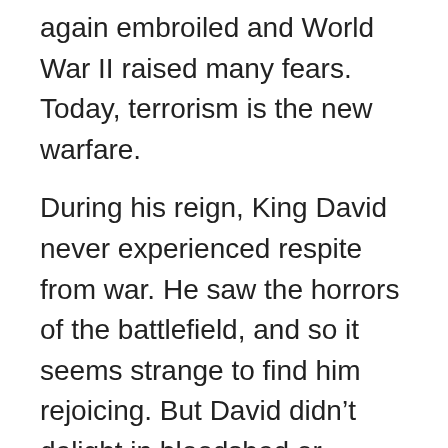again embroiled and World War II raised many fears. Today, terrorism is the new warfare.
During his reign, King David never experienced respite from war. He saw the horrors of the battlefield, and so it seems strange to find him rejoicing. But David didn’t delight in bloodshed or Israel’s superior armies or his own brilliant leadership. His joy was in the strength and unfailing love of the covenant God who gave victory to the Jewish people. David never forgot who provided everything for him and for the nation.
God’s enemies were David’s enemies, so David not only praised God for past victories, but looked forward to when every enemy of God would be